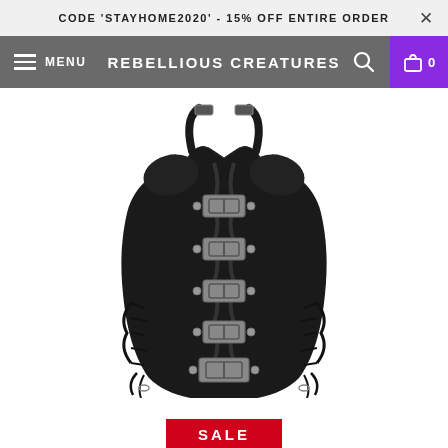CODE 'STAYHOME2020' - 15% OFF ENTIRE ORDER
MENU  REBELLIOUS CREATURES  0
[Figure (photo): Black leather-look corset with five silver buckles down the front center, halter strap, lace-up sides, and silver stud details on white background.]
SALE